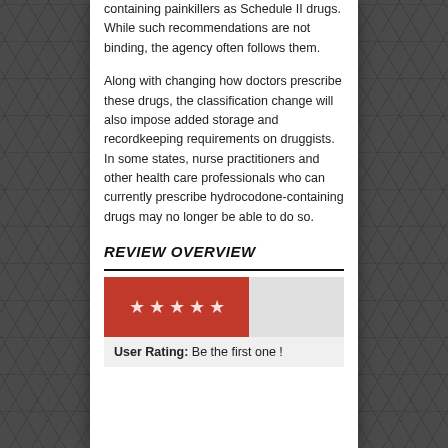containing painkillers as Schedule II drugs. While such recommendations are not binding, the agency often follows them.
Along with changing how doctors prescribe these drugs, the classification change will also impose added storage and recordkeeping requirements on druggists. In some states, nurse practitioners and other health care professionals who can currently prescribe hydrocodone-containing drugs may no longer be able to do so.
REVIEW OVERVIEW
[Figure (infographic): A review star rating bar: left portion is red with 5 white stars, right portion is light gray (empty rating).]
User Rating: Be the first one !